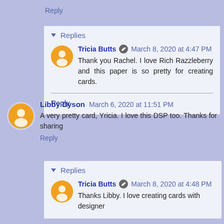Reply
▾ Replies
Tricia Butts ✎ March 8, 2020 at 4:47 PM
Thank you Rachel. I love Rich Razzleberry and this paper is so pretty for creating cards.
Reply
Libby Dyson March 6, 2020 at 11:51 PM
A very pretty card, Yricia. I love this DSP too. Thanks for sharing
Reply
▾ Replies
Tricia Butts ✎ March 8, 2020 at 4:48 PM
Thanks Libby. I love creating cards with designer